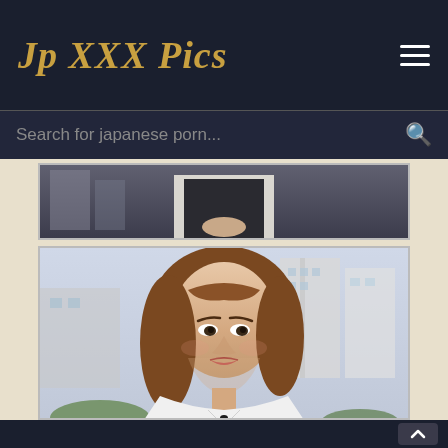Jp XXX Pics
Search for japanese porn...
[Figure (photo): Partial photo showing torso of person in dark apron with hands folded, outdoor urban background]
[Figure (photo): Portrait photo of Asian woman with medium-length auburn/brown wavy hair, wearing a white top, outdoors with buildings in background]